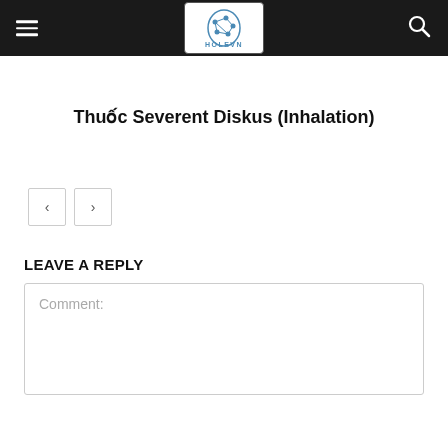HOLEVN
Thuốc Severent Diskus (Inhalation)
< >
LEAVE A REPLY
Comment: